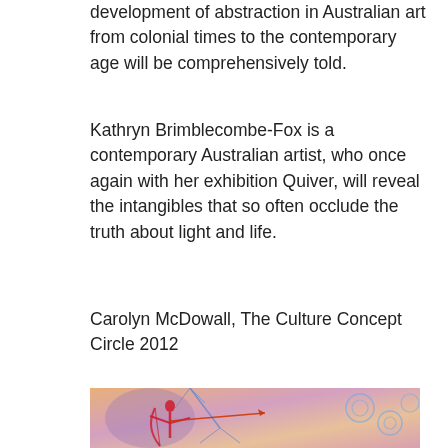development of abstraction in Australian art from colonial times to the contemporary age will be comprehensively told.
Kathryn Brimblecombe-Fox is a contemporary Australian artist, who once again with her exhibition Quiver, will reveal the intangibles that so often occlude the truth about light and life.
Carolyn McDowall, The Culture Concept Circle 2012
[Figure (illustration): A colourful artwork showing an abstract figure of a person in red holding a bow, surrounded by tree branch-like forms in blue and purple, with swirling spiral patterns on a warm orange-yellow-pink background.]